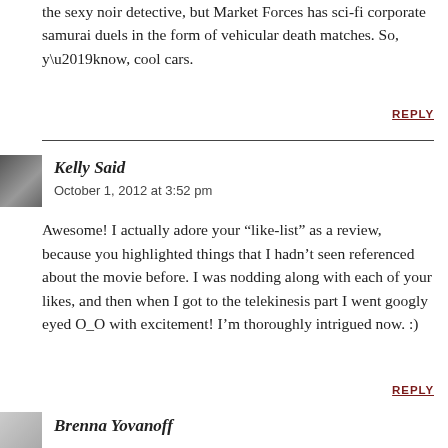the sexy noir detective, but Market Forces has sci-fi corporate samurai duels in the form of vehicular death matches. So, y’know, cool cars.
REPLY
Kelly Said
October 1, 2012 at 3:52 pm
Awesome! I actually adore your “like-list” as a review, because you highlighted things that I hadn’t seen referenced about the movie before. I was nodding along with each of your likes, and then when I got to the telekinesis part I went googly eyed O_O with excitement! I’m thoroughly intrigued now. :)
REPLY
Brenna Yovanoff